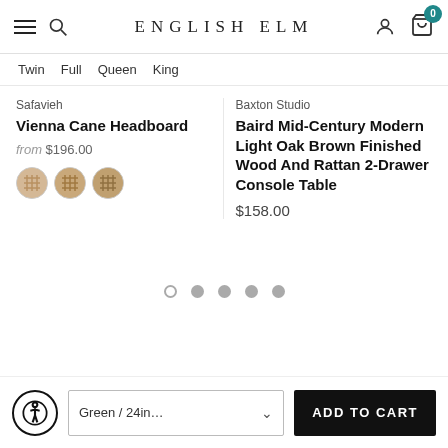English Elm — navigation header with hamburger menu, search, brand name, user icon, cart (0)
Twin  Full  Queen  King
Safavieh
Vienna Cane Headboard
from $196.00
[Figure (other): Three circular color swatches showing woven/cane headboard finish options]
Baxton Studio
Baird Mid-Century Modern Light Oak Brown Finished Wood And Rattan 2-Drawer Console Table
$158.00
[Figure (other): Pagination dots: 5 dots, first one is outlined (active), rest are solid grey]
Accessibility button | Green / 24in... dropdown | ADD TO CART button